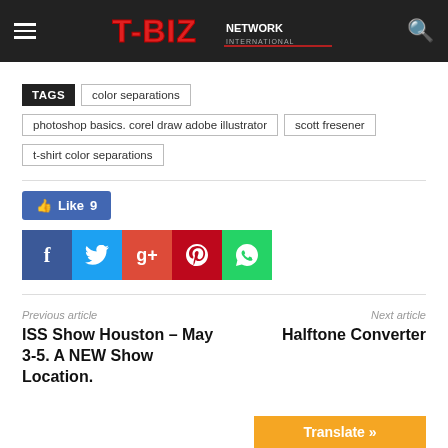T-BIZ Network International
TAGS  color separations  photoshop basics. corel draw adobe illustrator  scott fresener  t-shirt color separations
[Figure (screenshot): Social sharing buttons: Like 9 (Facebook like), Facebook, Twitter, Google+, Pinterest, WhatsApp]
Previous article
ISS Show Houston – May 3-5. A NEW Show Location.
Next article
Halftone Converter